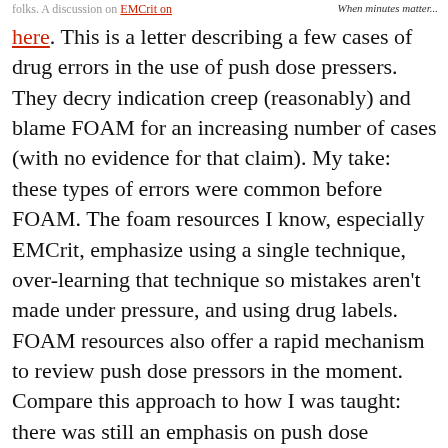When minutes matter...
folks. A discussion on EMCrit on
here. This is a letter describing a few cases of drug errors in the use of push dose pressers. They decry indication creep (reasonably) and blame FOAM for an increasing number of cases (with no evidence for that claim). My take: these types of errors were common before FOAM. The foam resources I know, especially EMCrit, emphasize using a single technique, over-learning that technique so mistakes aren't made under pressure, and using drug labels. FOAM resources also offer a rapid mechanism to review push dose pressors in the moment. Compare this approach to how I was taught: there was still an emphasis on push dose pressors during